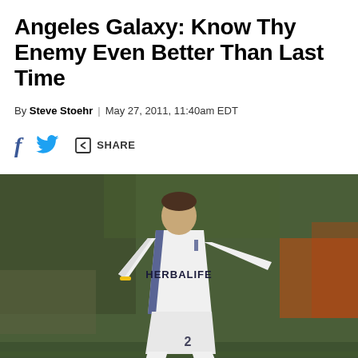Angeles Galaxy: Know Thy Enemy Even Better Than Last Time
By Steve Stoehr | May 27, 2011, 11:40am EDT
[Figure (other): Share bar with Facebook, Twitter, and share icons]
[Figure (photo): A Los Angeles Galaxy soccer player in white Herbalife jersey running on the field during a match]